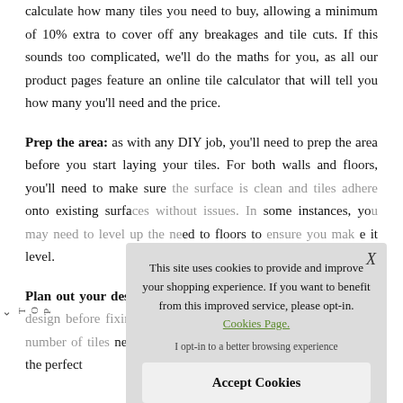meters, simply multiply the length by width. From here you can calculate how many tiles you need to buy, allowing a minimum of 10% extra to cover off any breakages and tile cuts. If this sounds too complicated, we'll do the maths for you, as all our product pages feature an online tile calculator that will tell you how many you'll need and the price.
Prep the area: as with any DIY job, you'll need to prep the area before you start laying your tiles. For both walls and floors, you'll need to make sure [obscured] onto existing surfa[ces] some instances, yo[u] [ne]ed to floors to [mak]e it level.
Plan out your des[ign:] to plan out yo[ur design] permanently. This [will show tiles] needed and play around with positioning to get the perfect
This site uses cookies to provide and improve your shopping experience. If you want to benefit from this improved service, please opt-in. Cookies Page.
I opt-in to a better browsing experience
Accept Cookies